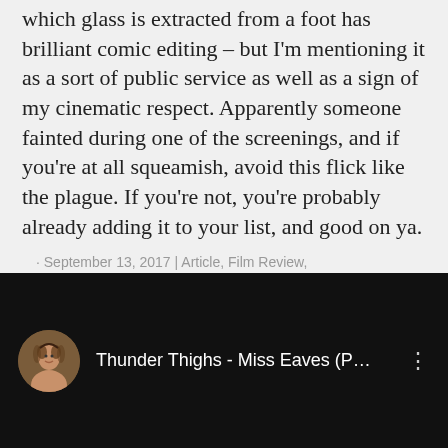It is frequently played for laughs – a scene in which glass is extracted from a foot has brilliant comic editing – but I'm mentioning it as a sort of public service as well as a sign of my cinematic respect. Apparently someone fainted during one of the screenings, and if you're at all squeamish, avoid this flick like the plague. If you're not, you're probably already adding it to your list, and good on ya.
• September 13, 2017 | Article, Film Review, Review | Tags: feminism, film, TIFF 2017
[Figure (screenshot): YouTube video embed showing 'Thunder Thighs - Miss Eaves (P...' with a circular avatar of a woman on the left and a three-dot menu icon on the right, on a black background.]